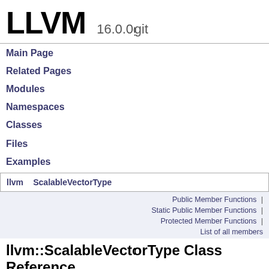LLVM 16.0.0git
Main Page
Related Pages
Modules
Namespaces
Classes
Files
Examples
llvm  ScalableVectorType
Public Member Functions |
Static Public Member Functions |
Protected Member Functions |
List of all members
llvm::ScalableVectorType Class Reference